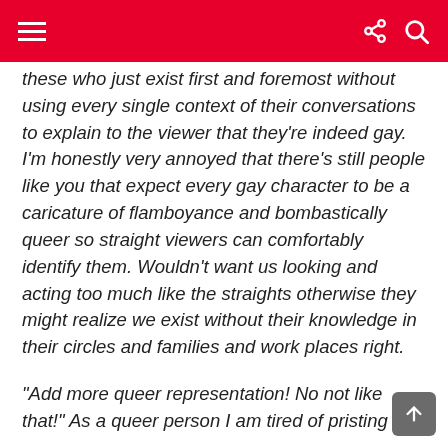these who just exist first and foremost without using every single context of their conversations to explain to the viewer that they're indeed gay. I'm honestly very annoyed that there's still people like you that expect every gay character to be a caricature of flamboyance and bombastically queer so straight viewers can comfortably identify them. Wouldn't want us looking and acting too much like the straights otherwise they might realize we exist without their knowledge in their circles and families and work places right.
“Add more queer representation! No not like that!” As a queer person I am tired of pristing